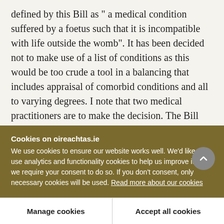defined by this Bill as " a medical condition suffered by a foetus such that it is incompatible with life outside the womb". It has been decided not to make use of a list of conditions as this would be too crude a tool in a balancing that includes appraisal of comorbid conditions and all to varying degrees. I note that two medical practitioners are to make the decision. The Bill requires two medical practitioners to agree and, having examined the woman, to jointly certify "in good faith that the foetus in question is
Cookies on oireachtas.ie
We use cookies to ensure our website works well. We'd like to use analytics and functionality cookies to help us improve it but we require your consent to do so. If you don't consent, only necessary cookies will be used. Read more about our cookies
Manage cookies
Accept all cookies